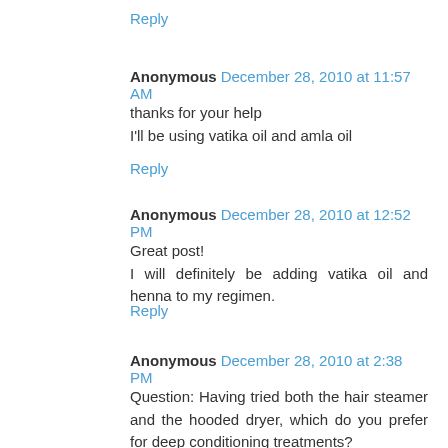Reply
Anonymous  December 28, 2010 at 11:57 AM
thanks for your help
I'll be using vatika oil and amla oil
Reply
Anonymous  December 28, 2010 at 12:52 PM
Great post!
I will definitely be adding vatika oil and henna to my regimen.
Reply
Anonymous  December 28, 2010 at 2:38 PM
Question: Having tried both the hair steamer and the hooded dryer, which do you prefer for deep conditioning treatments?